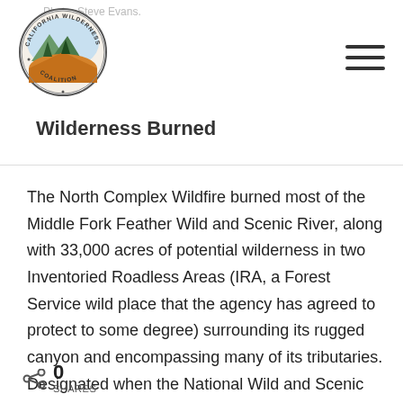Photo: Steve Evans.
[Figure (logo): California Wilderness Coalition circular logo with mountains, trees, and orange desert landscape]
Wilderness Burned
The North Complex Wildfire burned most of the Middle Fork Feather Wild and Scenic River, along with 33,000 acres of potential wilderness in two Inventoried Roadless Areas (IRA, a Forest Service wild place that the agency has agreed to protect to some degree) surrounding its rugged canyon and encompassing many of its tributaries. Designated when the National Wild and Scenic River System was established by Congress in 1968, the Middle Fork was the first
0 SHARES